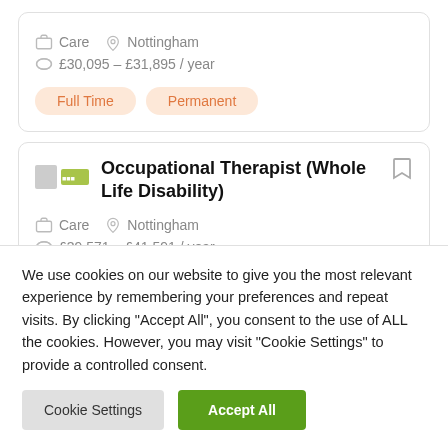Care   Nottingham   £30,095 – £31,895 / year
Full Time   Permanent
Occupational Therapist (Whole Life Disability)
Care   Nottingham   £39,571 – £41,591 / year
We use cookies on our website to give you the most relevant experience by remembering your preferences and repeat visits. By clicking "Accept All", you consent to the use of ALL the cookies. However, you may visit "Cookie Settings" to provide a controlled consent.
Cookie Settings   Accept All